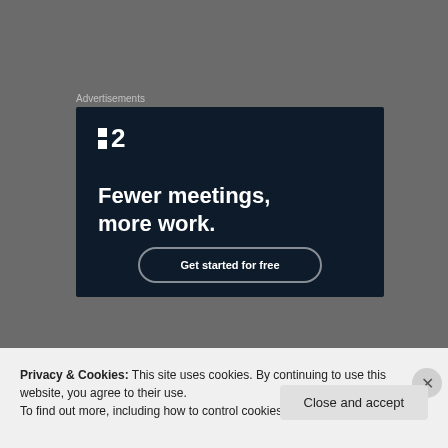Advertisements
[Figure (illustration): Dark navy advertisement box for a product called P2, with logo showing two white squares and the number 2, tagline 'Fewer meetings, more work.' and a 'Get started for free' button]
Privacy & Cookies: This site uses cookies. By continuing to use this website, you agree to their use.
To find out more, including how to control cookies, see here: Cookie Policy
Close and accept